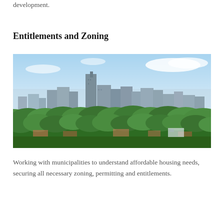development.
Entitlements and Zoning
[Figure (photo): Aerial panoramic view of a city skyline with tall skyscrapers in the center surrounded by trees and low-rise residential buildings in the foreground under a blue sky.]
Working with municipalities to understand affordable housing needs, securing all necessary zoning, permitting and entitlements.